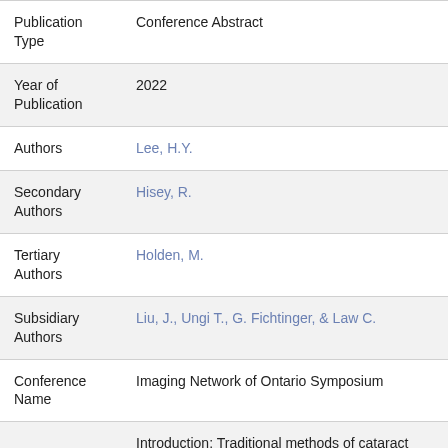| Field | Value |
| --- | --- |
| Publication Type | Conference Abstract |
| Year of Publication | 2022 |
| Authors | Lee, H.Y. |
| Secondary Authors | Hisey, R. |
| Tertiary Authors | Holden, M. |
| Subsidiary Authors | Liu, J., Ungi T., G. Fichtinger, & Law C. |
| Conference Name | Imaging Network of Ontario Symposium |
|  | Introduction: Traditional methods of cataract surgery skill assessment rely on human expert supervision. This exposes the trainee to |